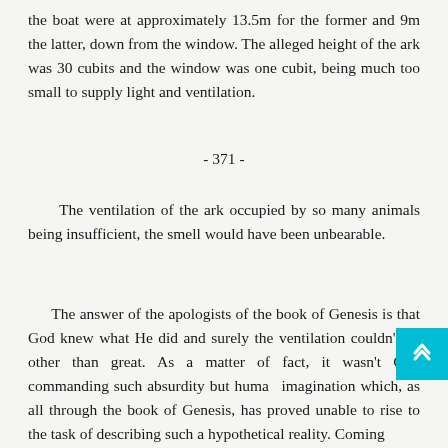the boat were at approximately 13.5m for the former and 9m the latter, down from the window. The alleged height of the ark was 30 cubits and the window was one cubit, being much too small to supply light and ventilation.
- 371 -
The ventilation of the ark occupied by so many animals being insufficient, the smell would have been unbearable.
The answer of the apologists of the book of Genesis is that God knew what He did and surely the ventilation couldn't be other than great. As a matter of fact, it wasn't God commanding such absurdity but human imagination which, as all through the book of Genesis, has proved unable to rise to the task of describing such a hypothetical reality. Coming